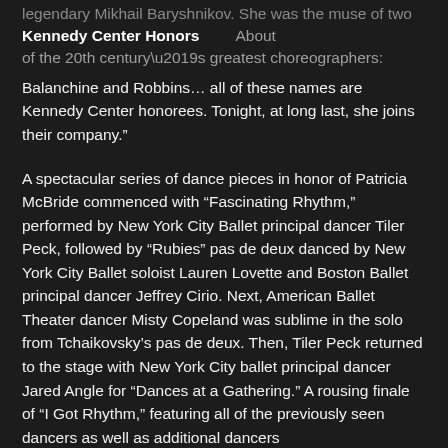legendary Mikhail Baryshnikov. She was the muse of two
Kennedy Center Honors   About
of the 20th century’s greatest choreographers:
Balanchine and Robbins… all of these names are Kennedy Center honorees. Tonight, at long last, she joins their company.”
A spectacular series of dance pieces in honor of Patricia McBride commenced with “Fascinating Rhythm,” performed by New York City Ballet principal dancer Tiler Peck, followed by “Rubies” pas de deux danced by New York City Ballet soloist Lauren Lovette and Boston Ballet principal dancer Jeffrey Cirio. Next, American Ballet Theater dancer Misty Copeland was sublime in the solo from Tchaikovsky’s pas de deux. Then, Tiler Peck returned to the stage with New York City ballet principal dancer Jared Angle for “Dances at a Gathering.” A rousing finale of “I Got Rhythm,” featuring all of the previously seen dancers as well as additional dancers